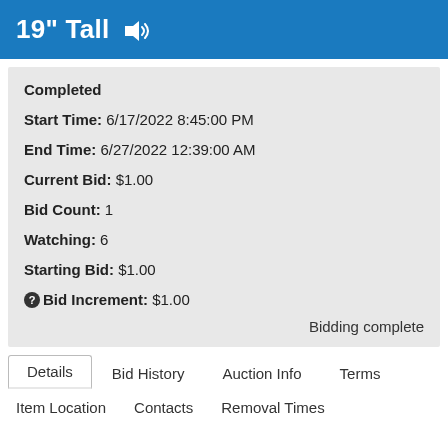19" Tall
Completed
Start Time: 6/17/2022 8:45:00 PM
End Time: 6/27/2022 12:39:00 AM
Current Bid: $1.00
Bid Count: 1
Watching: 6
Starting Bid: $1.00
Bid Increment: $1.00
Bidding complete
Details
Bid History
Auction Info
Terms
Item Location
Contacts
Removal Times